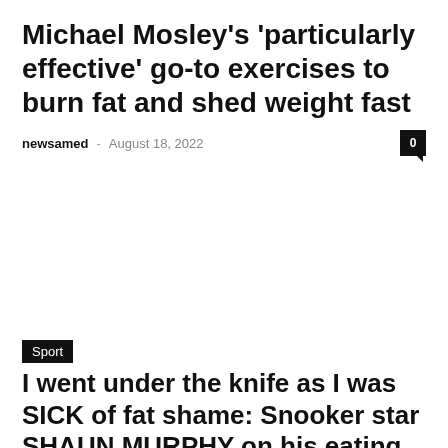Michael Mosley's 'particularly effective' go-to exercises to burn fat and shed weight fast
newsamed – August 18, 2022
Sport
I went under the knife as I was SICK of fat shame: Snooker star SHAUN MURPHY on his eating addiction